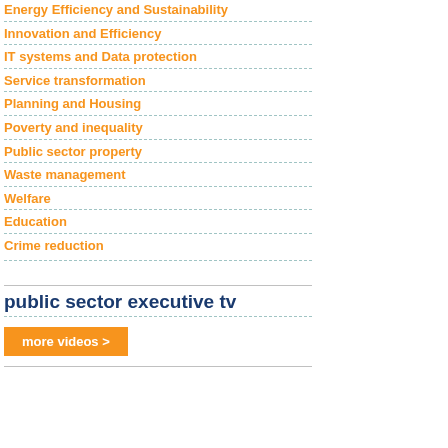Energy Efficiency and Sustainability
Innovation and Efficiency
IT systems and Data protection
Service transformation
Planning and Housing
Poverty and inequality
Public sector property
Waste management
Welfare
Education
Crime reduction
public sector executive tv
more videos >